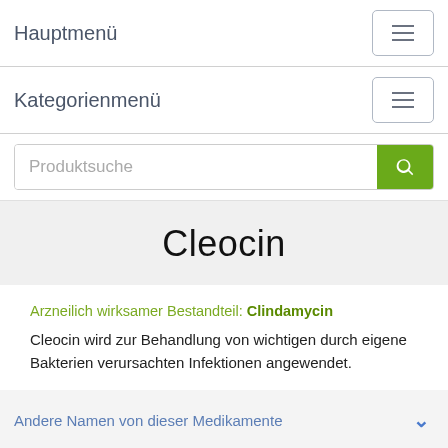Hauptmenü
Kategorienmenü
Produktsuche
Cleocin
Arzneilich wirksamer Bestandteil: Clindamycin
Cleocin wird zur Behandlung von wichtigen durch eigene Bakterien verursachten Infektionen angewendet.
Andere Namen von dieser Medikamente
Analogien von Cleocin